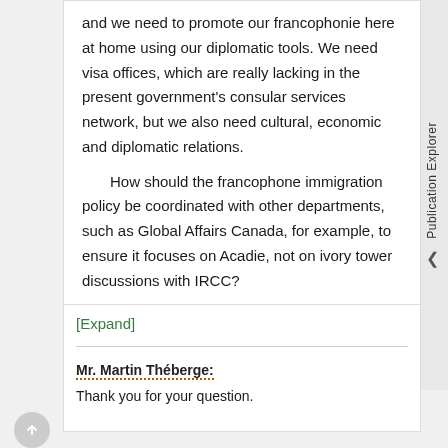and we need to promote our francophonie here at home using our diplomatic tools. We need visa offices, which are really lacking in the present government's consular services network, but we also need cultural, economic and diplomatic relations.
How should the francophone immigration policy be coordinated with other departments, such as Global Affairs Canada, for example, to ensure it focuses on Acadie, not on ivory tower discussions with IRCC?
[Expand]
Mr. Martin Théberge:
Thank you for your question.